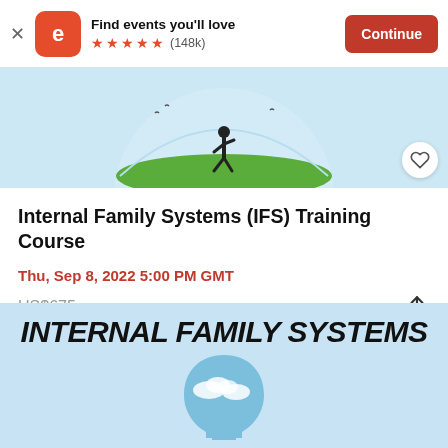Find events you'll love ★★★★★ (148k) Continue
[Figure (screenshot): Event hero image showing a person running on green grass inside a glass dome against a blue sky background]
Internal Family Systems (IFS) Training Course
Thu, Sep 8, 2022 5:00 PM GMT
US$675
[Figure (illustration): Internal Family Systems promotional image with bold text 'INTERNAL FAMILY SYSTEMS' and a silhouette of a human head filled with sky and clouds]